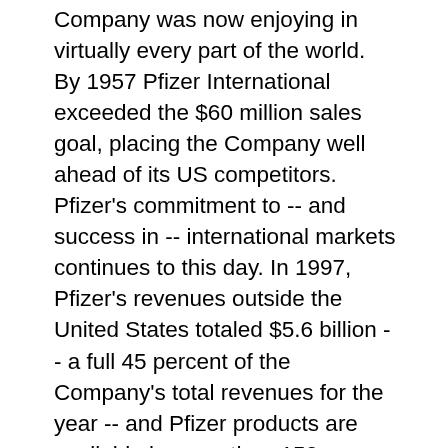Company was now enjoying in virtually every part of the world. By 1957 Pfizer International exceeded the $60 million sales goal, placing the Company well ahead of its US competitors. Pfizer's commitment to -- and success in -- international markets continues to this day. In 1997, Pfizer's revenues outside the United States totaled $5.6 billion -- a full 45 percent of the Company's total revenues for the year -- and Pfizer products are available in more than 150 countries. In any language, Pfizer's decision to expand overseas has spelled success. The second half of the 20th century has been an era of unprecedented advances in medical discovery, and Pfizer has made major contributions through the development of cutting-edge medicines. Fueled by the revenues generated by innovative marketing and sales teams, and guided by then-Chairman Edmund T. Pratt, Jr., Pfizer in the 1970s committed to